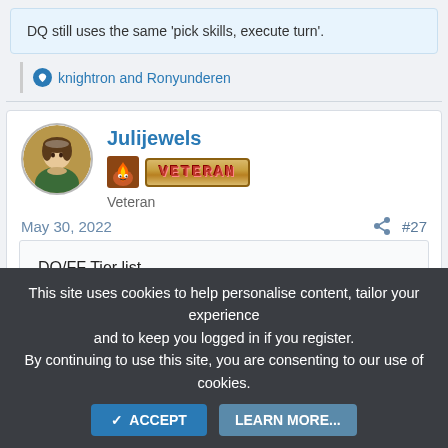DQ still uses the same 'pick skills, execute turn'.
knightron and Ronyunderen
Julijewels
Veteran
May 30, 2022
#27
DQ/FF Tier list
S Tier: DQM/DW7/FF9
This site uses cookies to help personalise content, tailor your experience and to keep you logged in if you register. By continuing to use this site, you are consenting to our use of cookies.
ACCEPT
LEARN MORE...